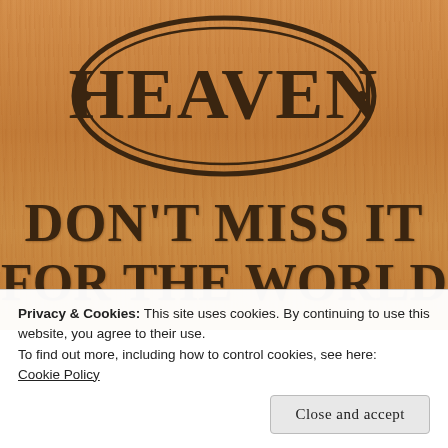[Figure (photo): A wooden sign with engraved text. The top portion shows '·HEAVEN·' inside an oval/ellipse border. Below that reads 'DON'T MISS IT' and 'FOR THE WORLD' in bold serif lettering on a wood-grain textured background.]
Privacy & Cookies: This site uses cookies. By continuing to use this website, you agree to their use.
To find out more, including how to control cookies, see here:
Cookie Policy
Close and accept